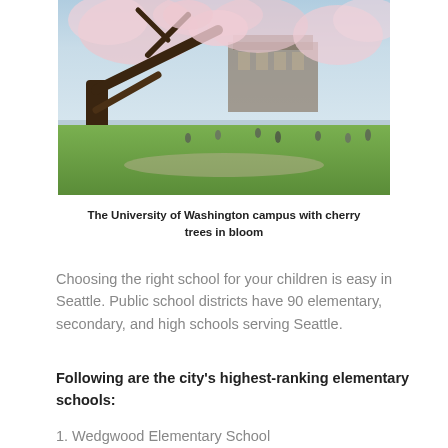[Figure (photo): The University of Washington campus with cherry blossom trees in bloom, people walking on green lawn, historic brick building visible in background]
The University of Washington campus with cherry trees in bloom
Choosing the right school for your children is easy in Seattle. Public school districts have 90 elementary, secondary, and high schools serving Seattle.
Following are the city's highest-ranking elementary schools:
1. Wedgwood Elementary School